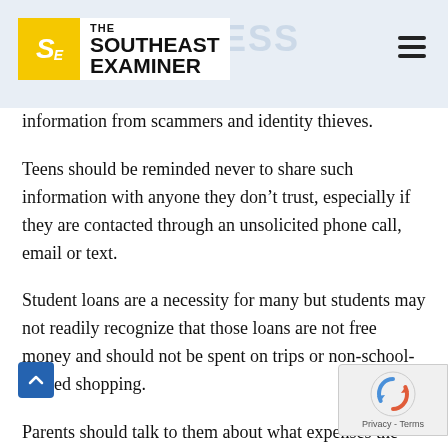THE SOUTHEAST EXAMINER
information from scammers and identity thieves.
Teens should be reminded never to share such information with anyone they don’t trust, especially if they are contacted through an unsolicited phone call, email or text.
Student loans are a necessity for many but students may not readily recognize that those loans are not free money and should not be spent on trips or non-school-related shopping.
Parents should talk to them about what expenses the loans are intended to cover (tuition, books, housing), explain that, unlike scholarships or financial aid, they